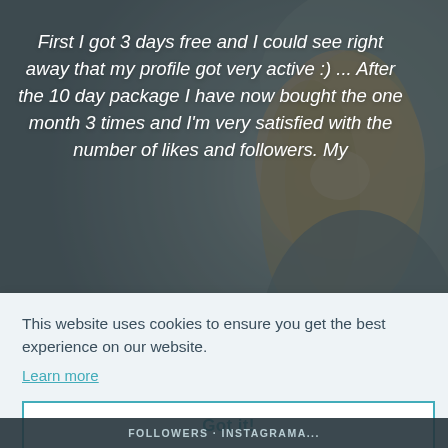[Figure (photo): Background photo of a smiling young woman with long blonde hair looking down at her phone, with a blurred outdoor background. Dark overlay on upper portion.]
First I got 3 days free and I could see right away that my profile got very active :) ... After the 10 day package I have now bought the one month 3 times and I'm very satisfied with the number of likes and followers. My
This website uses cookies to ensure you get the best experience on our website.
Learn more
Got it!
FOLLOWERS · INSTAGRAMA...